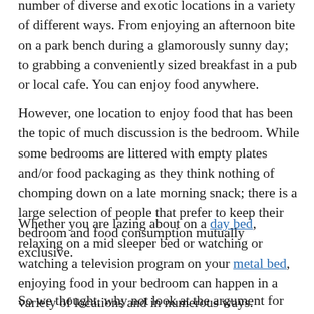number of diverse and exotic locations in a variety of different ways. From enjoying an afternoon bite on a park bench during a glamorously sunny day; to grabbing a conveniently sized breakfast in a pub or local cafe. You can enjoy food anywhere.
However, one location to enjoy food that has been the topic of much discussion is the bedroom. While some bedrooms are littered with empty plates and/or food packaging as they think nothing of chomping down on a late morning snack; there is a large selection of people that prefer to keep their bedroom and food consumption mutually exclusive.
Whether you are lazing about on a day bed, relaxing on a mid sleeper bed or watching or watching a television program on your metal bed, enjoying food in your bedroom can happen in a variety of locations and in numerous ways.
So we thought, why not look at the argument for eating food